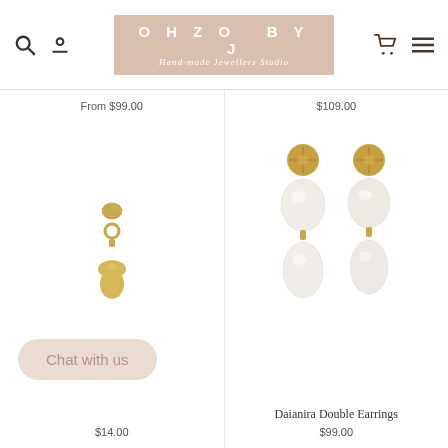OHZO BY J — Hand-made Jewellers Studio
From $99.00
$109.00
[Figure (photo): Single gold drop earring with teardrop pendant]
[Figure (photo): Two double baroque pearl earrings with gold textured stud tops — Daianira Double Earrings]
Chat with us
$14.00
Daianira Double Earrings
$99.00